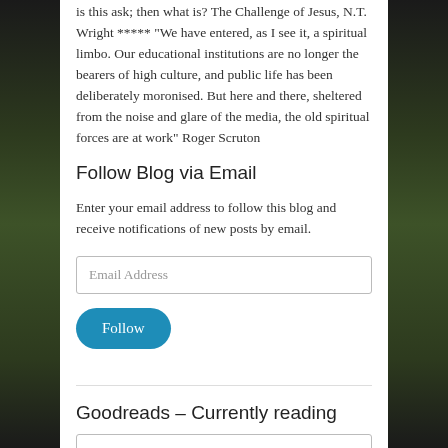is this ask; then what is? The Challenge of Jesus, N.T. Wright ***** "We have entered, as I see it, a spiritual limbo. Our educational institutions are no longer the bearers of high culture, and public life has been deliberately moronised. But here and there, sheltered from the noise and glare of the media, the old spiritual forces are at work" Roger Scruton
Follow Blog via Email
Enter your email address to follow this blog and receive notifications of new posts by email.
Goodreads – Currently reading